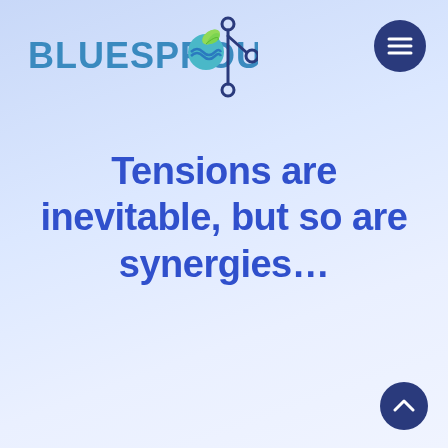[Figure (logo): BlueSprout logo with stylized text and leaf/wave icon, plus a git-branch network icon to the right]
[Figure (other): Dark navy circular menu button with three horizontal lines (hamburger icon) in top right corner]
Tensions are inevitable, but so are synergies…
[Figure (other): Dark navy circular scroll-to-top button with caret/chevron up icon in bottom right corner]